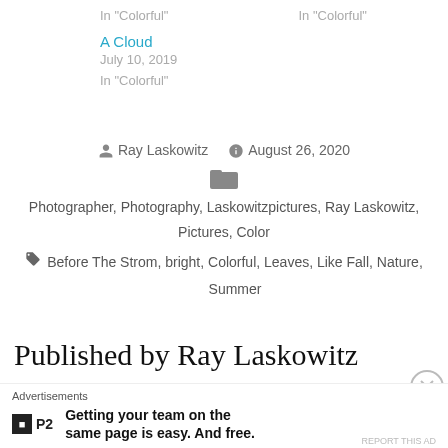In "Colorful"    In "Colorful"
A Cloud
July 10, 2019
In "Colorful"
Ray Laskowitz  August 26, 2020
Photographer, Photography, Laskowitzpictures, Ray Laskowitz, Pictures, Color
Before The Strom, bright, Colorful, Leaves, Like Fall, Nature, Summer
Published by Ray Laskowitz
Advertisements
Getting your team on the same page is easy. And free.